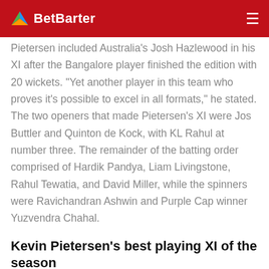BetBarter
Pietersen included Australia's Josh Hazlewood in his XI after the Bangalore player finished the edition with 20 wickets. "Yet another player in this team who proves it's possible to excel in all formats," he stated. The two openers that made Pietersen's XI were Jos Buttler and Quinton de Kock, with KL Rahul at number three. The remainder of the batting order comprised of Hardik Pandya, Liam Livingstone, Rahul Tewatia, and David Miller, while the spinners were Ravichandran Ashwin and Purple Cap winner Yuzvendra Chahal.
Kevin Pietersen's best playing XI of the season
Jos Buttler, Quinton de Kock, KL Rahul, Hardik Pandya,